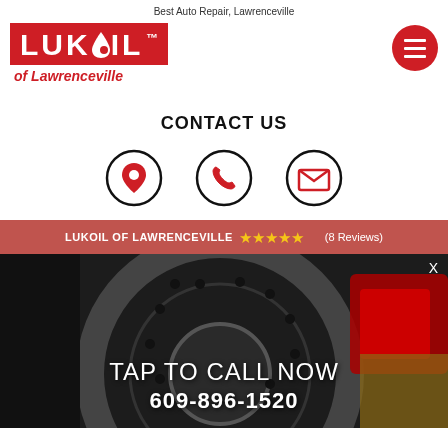Best Auto Repair, Lawrenceville
[Figure (logo): LUKOIL of Lawrenceville logo — red rectangle with white LUKOIL text and water drop, with red italic 'of Lawrenceville' subtitle below]
[Figure (other): Red circular hamburger menu button with three white horizontal lines]
CONTACT US
[Figure (other): Three circular contact icons: location pin (red), phone (red), envelope (red), each in a black circle outline]
LUKOIL OF LAWRENCEVILLE ★★★★★ (8 Reviews)
[Figure (photo): Dark background photo of car brake disc and caliper, mechanic with yellow gloves visible at right]
TAP TO CALL NOW
609-896-1520